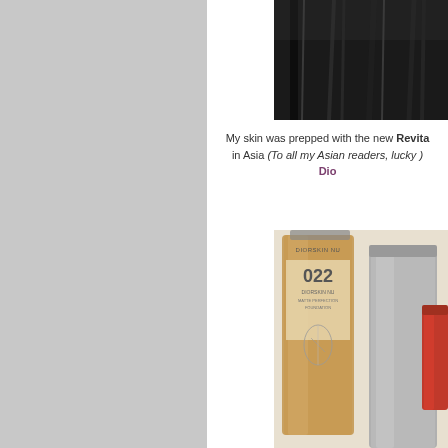[Figure (photo): Partial view of a dark/black makeup or cosmetics product on dark background, cropped at right edge]
My skin was prepped with the new Revita... in Asia (To all my Asian readers, lucky )... Dio...
[Figure (photo): Diorskin foundation bottles - showing shade 022, multiple bottles including one with red cap, on light background with Diorskin Nu label visible]